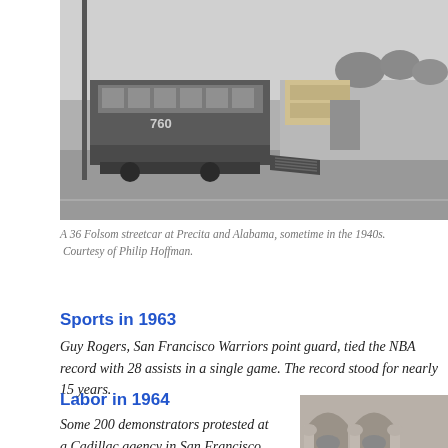[Figure (photo): Black and white photograph of a 36 Folsom streetcar at Precita and Alabama, sometime in the 1940s.]
A 36 Folsom streetcar at Precita and Alabama, sometime in the 1940s. Courtesy of Philip Hoffman.
Sports in 1963
Guy Rogers, San Francisco Warriors point guard, tied the NBA record with 28 assists in a single game. The record stood for nearly 15 years.
Labor in 1964
Some 200 demonstrators protested at a Cadillac agency in San Francisco
[Figure (photo): Black and white photograph showing protesters at a building with ornate stone columns and arched doorways.]